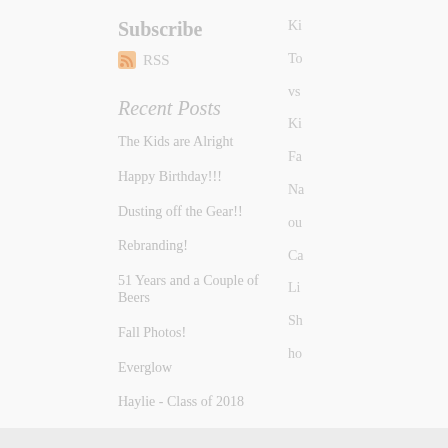Subscribe
RSS
Recent Posts
The Kids are Alright
Happy Birthday!!!
Dusting off the Gear!!
Rebranding!
51 Years and a Couple of Beers
Fall Photos!
Everglow
Haylie - Class of 2018
Masters 2017
Mal Turned 8. Two Months Ago. Oops.
Ki
To
vs
Ki
Fa
Na
ou
Ca
Li
Sh
ho